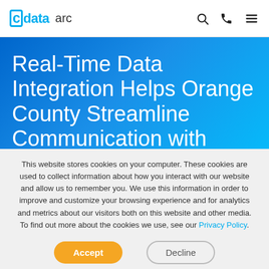cdata arc
Real-Time Data Integration Helps Orange County Streamline Communication with Constituents
Real-Time Data Integration Helps Orange County
This website stores cookies on your computer. These cookies are used to collect information about how you interact with our website and allow us to remember you. We use this information in order to improve and customize your browsing experience and for analytics and metrics about our visitors both on this website and other media. To find out more about the cookies we use, see our Privacy Policy.
Accept | Decline